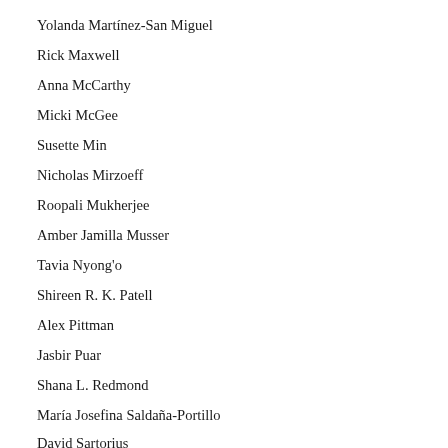Yolanda Martínez-San Miguel
Rick Maxwell
Anna McCarthy
Micki McGee
Susette Min
Nicholas Mirzoeff
Roopali Mukherjee
Amber Jamilla Musser
Tavia Nyong'o
Shireen R. K. Patell
Alex Pittman
Jasbir Puar
Shana L. Redmond
María Josefina Saldaña-Portillo
David Sartorius